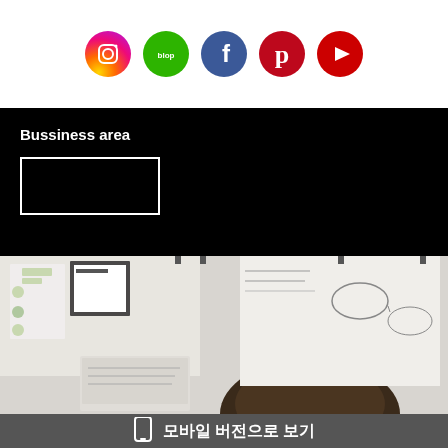[Figure (infographic): Row of 5 social media icon circles: Instagram (gradient), KakaoTalk (green), Facebook (blue), Pinterest (red), YouTube (red)]
Bussiness area
[Figure (other): White outlined empty rectangle on black background]
[Figure (photo): Person with dark hair looking down at whiteboard notes and diagrams in a workspace]
모바일 버전으로 보기